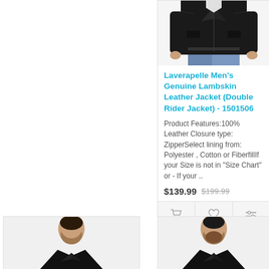[Figure (photo): Man wearing a black leather double rider jacket with white shirt and blue jeans, cropped at torso level]
Laverapelle Men's Genuine Lambskin Leather Jacket (Double Rider Jacket) - 1501506
Product Features:100% Leather Closure type: ZipperSelect lining from: Polyester , Cotton or FiberfillIf your Size is not in "Size Chart" or - If your ..
$139.99  $199.99
[Figure (photo): Man wearing a black leather jacket, bottom left card, partially visible]
[Figure (photo): Man wearing a black leather jacket, bottom right card, partially visible]